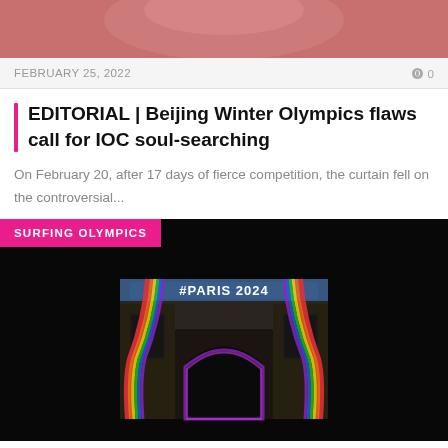[Figure (photo): Top portion of a photo, partially visible at the top of the page, appears to show red/pink tones]
FEBRUARY 25, 2022   0
EDITORIAL | Beijing Winter Olympics flaws call for IOC soul-searching
On February 20, after 17 days of fierce competition, the curtain fell on the controversial...
[Figure (photo): Night photograph of the Arc de Triomphe in Paris illuminated with colorful projections showing #PARIS2024 text and Paris 2024 Olympics logo ribbons in rainbow colors against a dark background]